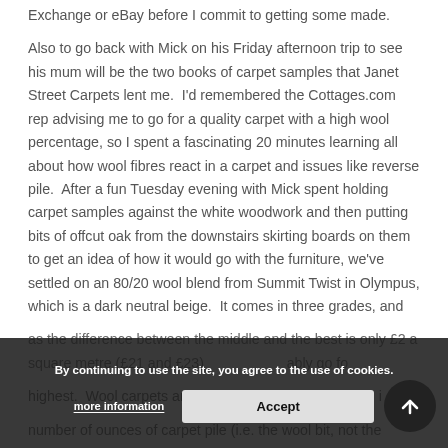Exchange or eBay before I commit to getting some made.
Also to go back with Mick on his Friday afternoon trip to see his mum will be the two books of carpet samples that Janet Street Carpets lent me.  I'd remembered the Cottages.com rep advising me to go for a quality carpet with a high wool percentage, so I spent a fascinating 20 minutes learning all about how wool fibres react in a carpet and issues like reverse pile.  After a fun Tuesday evening with Mick spent holding carpet samples against the white woodwork and then putting bits of offcut oak from the downstairs skirting boards on them to get an idea of how it would go with the furniture, we've settled on an 80/20 wool blend from Summit Twist in Olympus, which is a dark neutral beige.  It comes in three grades, and as the difference between the middle and the best is only £2 a square metre (£21 and £23) …ably go for highest.  Wool carpets are graded by pile weight, which is number of ounces of carpet pile (i.e. the wool bit, not the
By continuing to use the site, you agree to the use of cookies.
more information
Accept